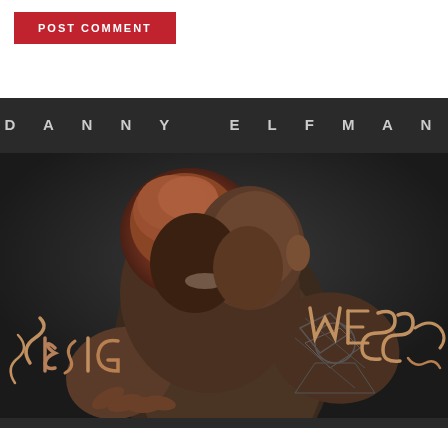[Figure (screenshot): POST COMMENT button — red background, white uppercase text with letter-spacing]
DANNY ELFMAN
[Figure (photo): Album cover art for Danny Elfman 'Big Mess' — dark background, grotesque sculptural figure of two conjoined/overlapping human-like figures with distorted faces, tattooed torso, with wormy tendrils spelling 'BIG' on the left and 'MESS' on the right in an organic style]
REVIEWS